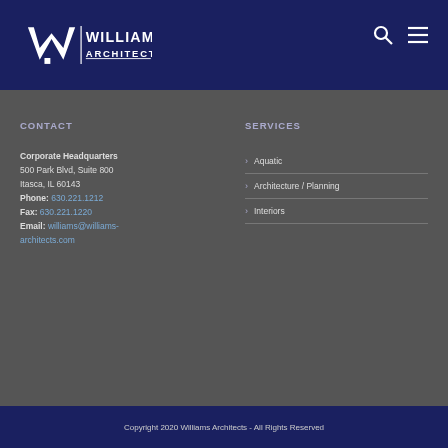[Figure (logo): Williams Architects logo — white angular W mark with WILLIAMS ARCHITECTS text on dark navy background]
CONTACT
Corporate Headquarters
500 Park Blvd, Suite 800
Itasca, IL 60143
Phone: 630.221.1212
Fax: 630.221.1220
Email: williams@williams-architects.com
SERVICES
Aquatic
Architecture / Planning
Interiors
Copyright 2020 Williams Architects - All Rights Reserved